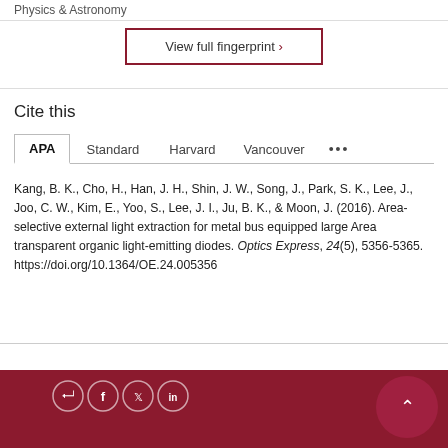Physics & Astronomy
View full fingerprint >
Cite this
APA  Standard  Harvard  Vancouver  •••
Kang, B. K., Cho, H., Han, J. H., Shin, J. W., Song, J., Park, S. K., Lee, J., Joo, C. W., Kim, E., Yoo, S., Lee, J. I., Ju, B. K., & Moon, J. (2016). Area-selective external light extraction for metal bus equipped large Area transparent organic light-emitting diodes. Optics Express, 24(5), 5356-5365. https://doi.org/10.1364/OE.24.005356